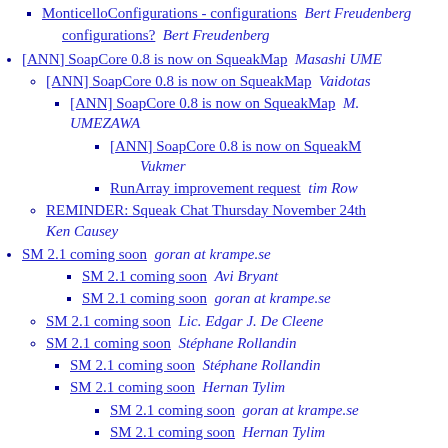MonticelloConfigurations - configurations? Bert Freudenberg
[ANN] SoapCore 0.8 is now on SqueakMap  Masashi UME
[ANN] SoapCore 0.8 is now on SqueakMap  Vaidotas
[ANN] SoapCore 0.8 is now on SqueakMap  M. UMEZAWA
[ANN] SoapCore 0.8 is now on SqueakM  Vukmer
RunArray improvement request  tim Row
REMINDER: Squeak Chat Thursday November 24th  Ken Causey
SM 2.1 coming soon  goran at krampe.se
SM 2.1 coming soon  Avi Bryant
SM 2.1 coming soon  goran at krampe.se
SM 2.1 coming soon  Lic. Edgar J. De Cleene
SM 2.1 coming soon  Stéphane Rollandin
SM 2.1 coming soon  Stéphane Rollandin
SM 2.1 coming soon  Hernan Tylim
SM 2.1 coming soon  goran at krampe.se
SM 2.1 coming soon  Hernan Tylim
A new Smalltalk gathering on Dec 3, Saturday in Paris, Fran  Stinckwich
Yet another interesting keyboard alternative  David Faught
Yet another interesting keyboard alternative  Hans-Me
Yet another interesting keyboard alternative  Kh
[ST] Re: Yet another interesting keyboard alternative